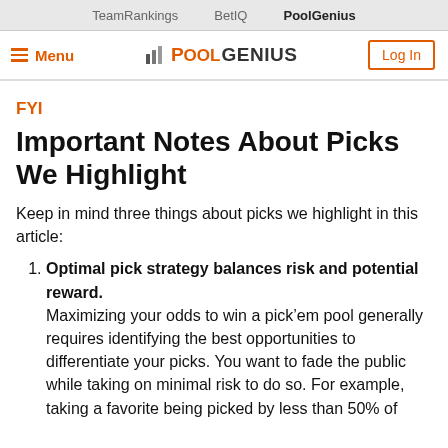TeamRankings  BetIQ  PoolGenius
Menu  POOLGENIUS  Log In
FYI
Important Notes About Picks We Highlight
Keep in mind three things about picks we highlight in this article:
Optimal pick strategy balances risk and potential reward. Maximizing your odds to win a pick’em pool generally requires identifying the best opportunities to differentiate your picks. You want to fade the public while taking on minimal risk to do so. For example, taking a favorite being picked by less than 50% of